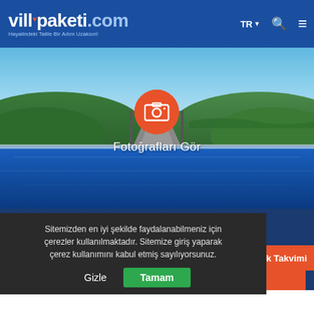villapaketi.com — Hayalindeki Tatile Bir Adım Uzaksın! TR
[Figure (photo): Aerial/pool view of seaside villa with infinity pool, green hills, blue sea and sky in background. Orange circular button with photo icon and text 'Fotoğrafları Gör' overlaid.]
Villa Nehir
7.000 ₺'DEN
oluluk Takvimi
Sitemizden en iyi şekilde faydalanabilmeniz için çerezler kullanılmaktadır. Sitemize giriş yaparak çerez kullanımını kabul etmiş sayılıyorsunuz.
Gizle   Tamam
Giriş Tarihi